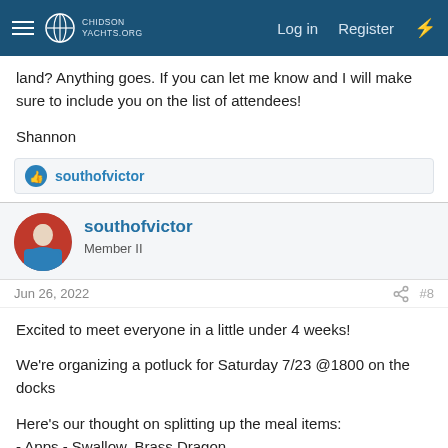ChidsonYachts.org — Log in | Register
land? Anything goes. If you can let me know and I will make sure to include you on the list of attendees!
Shannon
southofvictor
southofvictor
Member II
Jun 26, 2022
#8
Excited to meet everyone in a little under 4 weeks!
We're organizing a potluck for Saturday 7/23 @1800 on the docks
Here's our thought on splitting up the meal items:
- Apps - Swallow, Brass Dragon